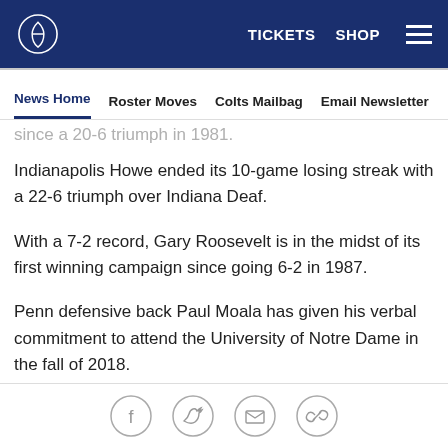Indianapolis Colts | TICKETS  SHOP
News Home  Roster Moves  Colts Mailbag  Email Newsletter  U...
since a 20-6 triumph in 1981.
Indianapolis Howe ended its 10-game losing streak with a 22-6 triumph over Indiana Deaf.
With a 7-2 record, Gary Roosevelt is in the midst of its first winning campaign since going 6-2 in 1987.
Penn defensive back Paul Moala has given his verbal commitment to attend the University of Notre Dame in the fall of 2018.
Keaton Cox's 16-yard touchdown run on the final play